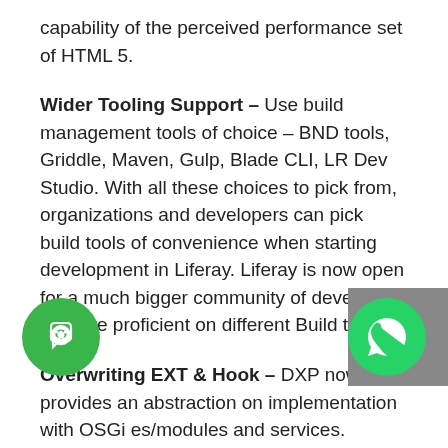capability of the perceived performance set of HTML 5.
Wider Tooling Support – Use build management tools of choice – BND tools, Griddle, Maven, Gulp, Blade CLI, LR Dev Studio. With all these choices to pick from, organizations and developers can pick build tools of convenience when starting development in Liferay. Liferay is now open for a much bigger community of developers who are proficient on different Build tools.
Overwriting EXT & Hook – DXP now provides an abstraction on implementation with OSGi es/modules and services. Initially, the main Liferay core classes could only be over-ridden